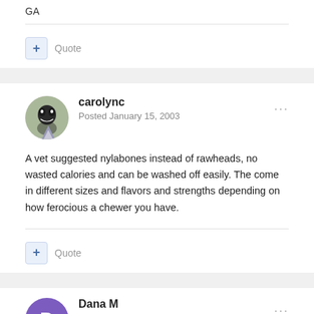GA
+ Quote
carolync
Posted January 15, 2003
A vet suggested nylabones instead of rawheads, no wasted calories and can be washed off easily. The come in different sizes and flavors and strengths depending on how ferocious a chewer you have.
+ Quote
Dana M